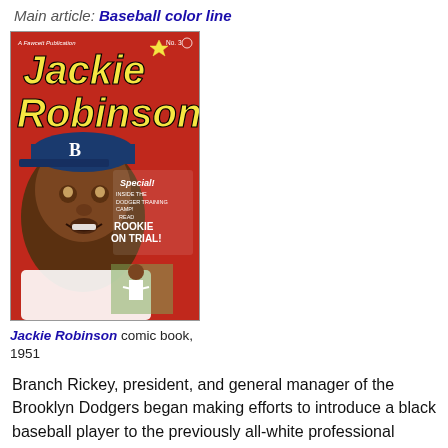Main article: Baseball color line
[Figure (photo): Cover of Jackie Robinson comic book, 1951. Red background with Jackie Robinson's face prominently displayed, title 'Jackie Robinson' in yellow letters, price 10 cents, text 'Special! Inside the Dodger Training Camp! Read ROOKIE ON TRIAL!']
Jackie Robinson comic book, 1951
Branch Rickey, president, and general manager of the Brooklyn Dodgers began making efforts to introduce a black baseball player to the previously all-white professional baseball leagues in the mid-1940s. He selected Jackie Robinson from a list of promising Negro league